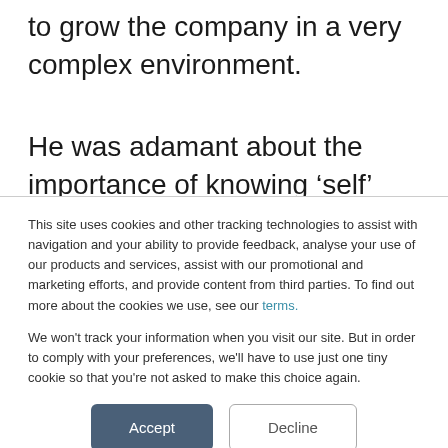to grow the company in a very complex environment.
He was adamant about the importance of knowing ‘self’ through seeking feedback from various stakeholders. We used the i4
This site uses cookies and other tracking technologies to assist with navigation and your ability to provide feedback, analyse your use of our products and services, assist with our promotional and marketing efforts, and provide content from third parties. To find out more about the cookies we use, see our terms.

We won't track your information when you visit our site. But in order to comply with your preferences, we'll have to use just one tiny cookie so that you're not asked to make this choice again.
Accept
Decline